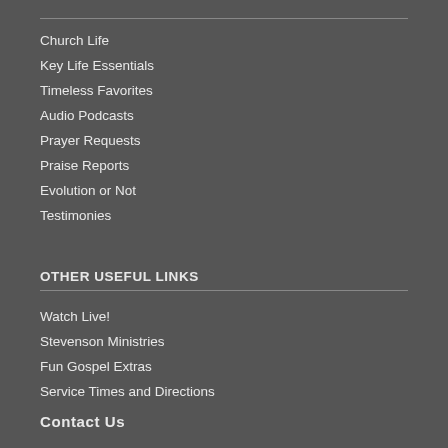Church Life
Key Life Essentials
Timeless Favorites
Audio Podcasts
Prayer Requests
Praise Reports
Evolution or Not
Testimonies
OTHER USEFUL LINKS
Watch Live!
Stevenson Ministries
Fun Gospel Extras
Service Times and Directions
Contact Us
Privacy Policy